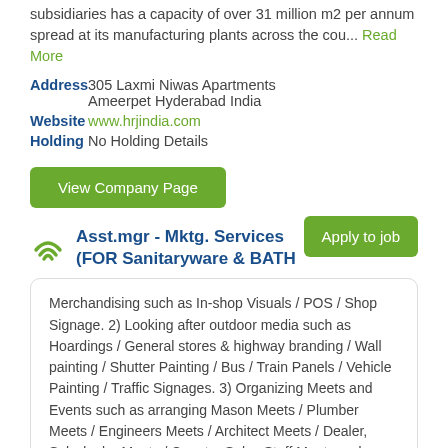subsidiaries has a capacity of over 31 million m2 per annum spread at its manufacturing plants across the cou... Read More
| Field | Value |
| --- | --- |
| Address | 305 Laxmi Niwas Apartments Ameerpet Hyderabad India |
| Website | www.hrjindia.com |
| Holding | No Holding Details |
View Company Page
Asst.mgr - Mktg. Services (FOR Sanitaryware & BATH
Apply to job
Merchandising such as In-shop Visuals / POS / Shop Signage. 2) Looking after outdoor media such as Hoardings / General stores & highway branding / Wall painting / Shutter Painting / Bus / Train Panels / Vehicle Painting / Traffic Signages. 3) Organizing Meets and Events such as arranging Mason Meets / Plumber Meets / Engineers Meets / Architect Meets / Dealer, Sub-dealer Meets / Counter Sales Staff Meets and launching events such as Road Shows / Factory Visits / Exhibitions. 4) Sampling of Sanitary ware, CP Fitting Products / Modular